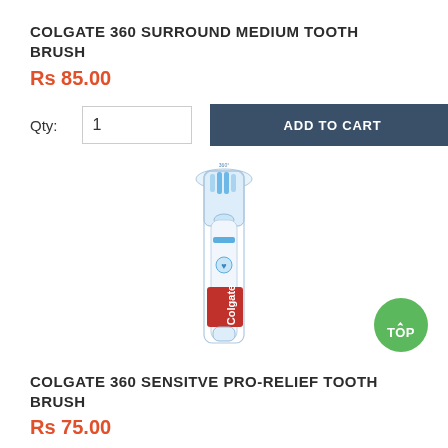COLGATE 360 SURROUND MEDIUM TOOTH BRUSH
Rs 85.00
Qty: 1  ADD TO CART
[Figure (photo): Colgate 360 Surround Medium toothbrush product image in packaging, showing a blue and white toothbrush with red Colgate branding label]
COLGATE 360 SENSITVE PRO-RELIEF TOOTH BRUSH
Rs 75.00